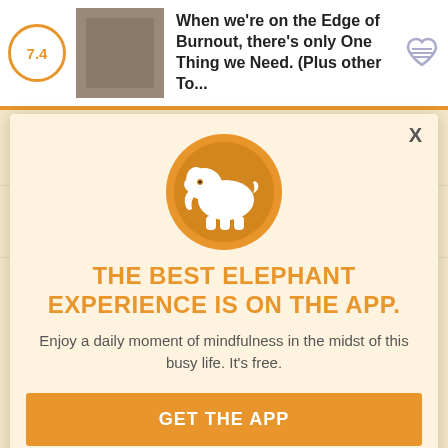7.4 | When we're on the Edge of Burnout, there's only One Thing we Need. (Plus other To...
[Figure (logo): Elephant Journal app logo — white elephant silhouette on orange circular background]
THE BEST ELEPHANT EXPERIENCE IS ON THE APP.
Enjoy a daily moment of mindfulness in the midst of this busy life. It's free.
GET THE APP
OPEN IN APP
[Figure (screenshot): Faded background showing Elephant Journal article listing with thumbnails and titles]